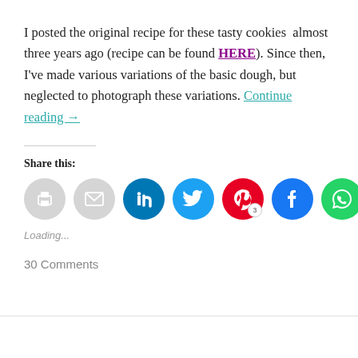I posted the original recipe for these tasty cookies almost three years ago (recipe can be found HERE). Since then, I've made various variations of the basic dough, but neglected to photograph these variations. Continue reading →
[Figure (other): Social share buttons row: print (gray), email (gray), LinkedIn (blue), Twitter (light blue), Pinterest (red) with badge '3', Facebook (blue), WhatsApp (green)]
Loading...
30 Comments